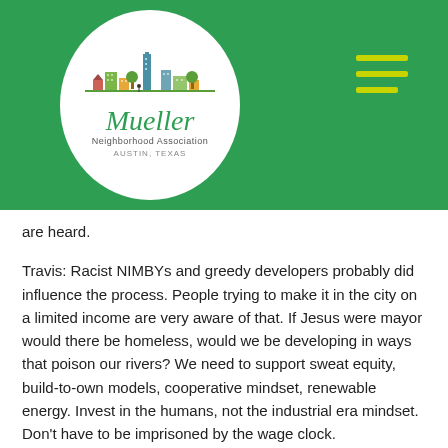[Figure (logo): Mueller Neighborhood Association logo — circular white logo with illustrated city skyline, stylized italic 'Mueller' text, and 'Neighborhood Association' subtitle, set on a green header bar with a hamburger menu icon on the right]
are heard.
Travis: Racist NIMBYs and greedy developers probably did influence the process. People trying to make it in the city on a limited income are very aware of that. If Jesus were mayor would there be homeless, would we be developing in ways that poison our rivers? We need to support sweat equity, build-to-own models, cooperative mindset, renewable energy. Invest in the humans, not the industrial era mindset. Don't have to be imprisoned by the wage clock.
Laura: Code Next failed because it abandoned the process the Mayor spoke about. We allocated funds to gather people to discuss hot topics, but consultants ignored the process and inputs. Ignored centers around town that could be nodes to connect with good transit. Code Next was not